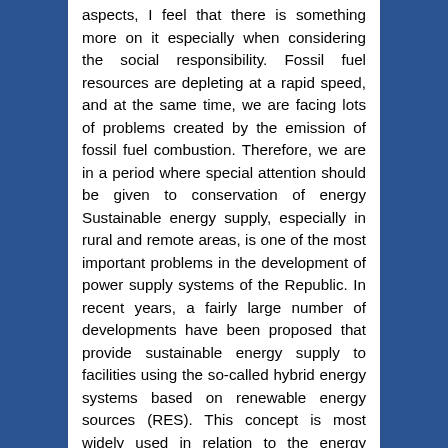aspects, I feel that there is something more on it especially when considering the social responsibility. Fossil fuel resources are depleting at a rapid speed, and at the same time, we are facing lots of problems created by the emission of fossil fuel combustion. Therefore, we are in a period where special attention should be given to conservation of energy Sustainable energy supply, especially in rural and remote areas, is one of the most important problems in the development of power supply systems of the Republic. In recent years, a fairly large number of developments have been proposed that provide sustainable energy supply to facilities using the so-called hybrid energy systems based on renewable energy sources (RES). This concept is most widely used in relation to the energy supply of rural areas and to the autonomous power supply of remote objects, for